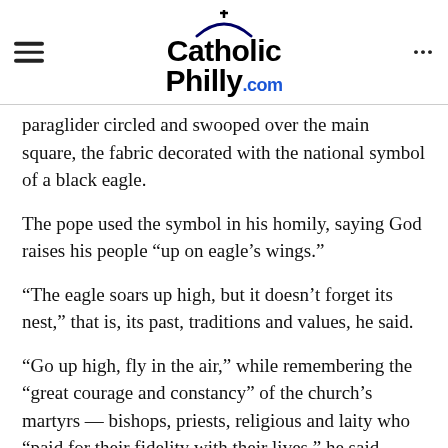CatholicPhilly.com
paraglider circled and swooped over the main square, the fabric decorated with the national symbol of a black eagle.
The pope used the symbol in his homily, saying God raises his people “up on eagle’s wings.”
“The eagle soars up high, but it doesn’t forget its nest,” that is, its past, traditions and values, he said.
“Go up high, fly in the air,” while remembering the “great courage and constancy” of the church’s martyrs — bishops, priests, religious and laity who “paid for their fidelity with their lives,” he said.
“Don’t forget the nest, your history, the wounds, but do not